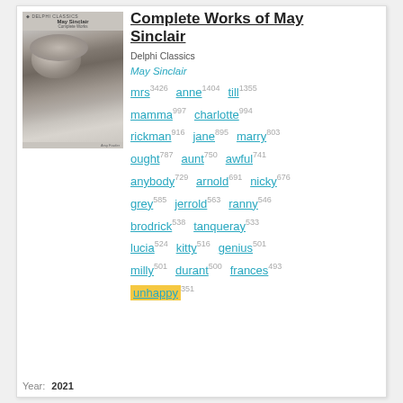[Figure (photo): Book cover of Complete Works of May Sinclair, Delphi Classics, showing a black and white portrait photo of May Sinclair]
Complete Works of May Sinclair
Delphi Classics
May Sinclair
mrs 3426  anne 1404  till 1355  mamma 997  charlotte 994  rickman 916  jane 895  marry 803  ought 787  aunt 750  awful 741  anybody 729  arnold 691  nicky 676  grey 585  jerrold 563  ranny 546  brodrick 538  tanqueray 533  lucia 524  kitty 516  genius 501  milly 501  durant 500  frances 493  unhappy 351
Year:  2021